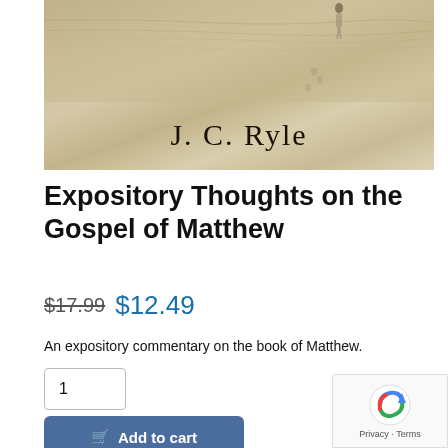[Figure (photo): Book cover showing a beach scene with footprints in sand and a person walking. Author name 'J. C. Ryle' displayed in serif font over sandy beach background.]
Expository Thoughts on the Gospel of Matthew
$17.99 $12.49
An expository commentary on the book of Matthew.
1
Add to cart